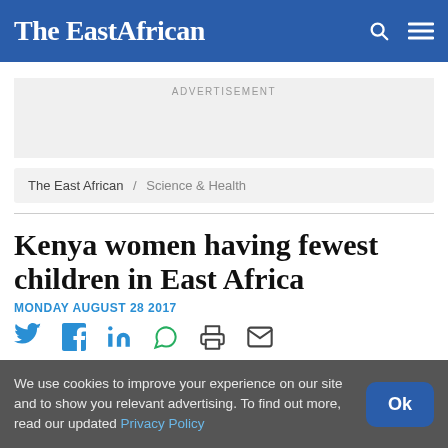The EastAfrican
[Figure (other): Advertisement placeholder box with 'ADVERTISEMENT' label]
The East African / Science & Health
Kenya women having fewest children in East Africa
MONDAY AUGUST 28 2017
[Figure (other): Social sharing icons row: Twitter, Facebook, LinkedIn, WhatsApp, Print, Email]
We use cookies to improve your experience on our site and to show you relevant advertising. To find out more, read our updated Privacy Policy